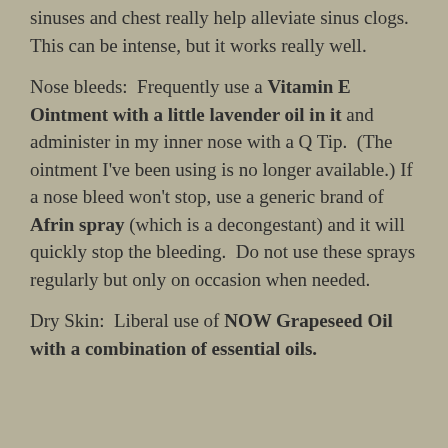sinuses and chest really help alleviate sinus clogs.  This can be intense, but it works really well.
Nose bleeds:  Frequently use a Vitamin E Ointment with a little lavender oil in it and administer in my inner nose with a Q Tip.  (The ointment I've been using is no longer available.) If a nose bleed won't stop, use a generic brand of Afrin spray (which is a decongestant) and it will quickly stop the bleeding.  Do not use these sprays regularly but only on occasion when needed.
Dry Skin:  Liberal use of NOW Grapeseed Oil with a combination of essential oils.